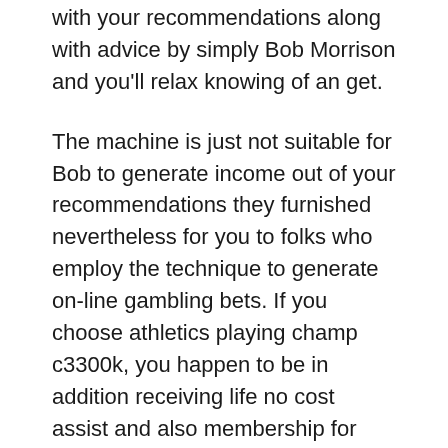with your recommendations along with advice by simply Bob Morrison and you'll relax knowing of an get.
The machine is just not suitable for Bob to generate income out of your recommendations they furnished nevertheless for you to folks who employ the technique to generate on-line gambling bets. If you choose athletics playing champ c3300k, you happen to be in addition receiving life no cost assist and also membership for you to the playing selects. The machine is basically straightforward along with may help you create the many income that you just often planned to!